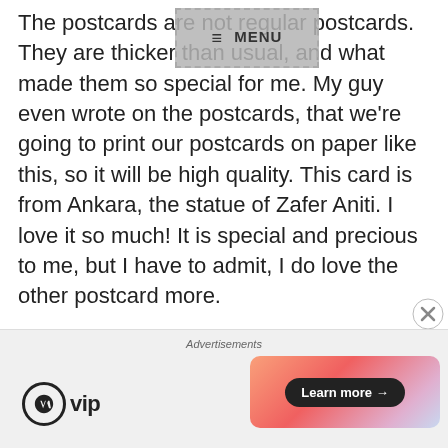The postcards are not regular postcards. They are thicker than usual, and what made them so special for me. My guy even wrote on the postcards, that we're going to print our postcards on paper like this, so it will be high quality. This card is from Ankara, the statue of Zafer Aniti. I love it so much! It is special and precious to me, but I have to admit, I do love the other postcard more.
[Figure (other): Navigation menu overlay button with hamburger icon and MENU text]
Advertisements
[Figure (logo): WordPress VIP logo and Learn more button advertisement banner]